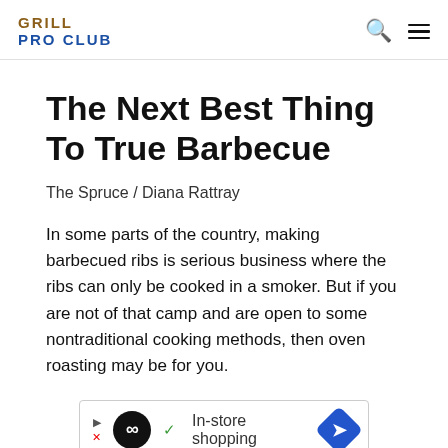GRILL PRO CLUB
The Next Best Thing To True Barbecue
The Spruce / Diana Rattray
In some parts of the country, making barbecued ribs is serious business where the ribs can only be cooked in a smoker. But if you are not of that camp and are open to some nontraditional cooking methods, then oven roasting may be for you.
[Figure (other): Advertisement banner showing an infinity symbol in a black circle, checkmark, text 'In-store shopping', and a blue diamond navigation arrow icon.]